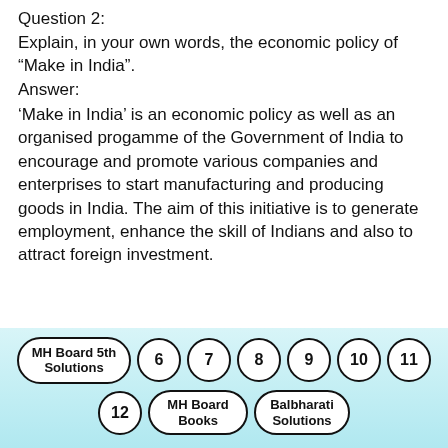Question 2:
Explain, in your own words, the economic policy of “Make in India”.
Answer:
‘Make in India’ is an economic policy as well as an organised progamme of the Government of India to encourage and promote various companies and enterprises to start manufacturing and producing goods in India. The aim of this initiative is to generate employment, enhance the skill of Indians and also to attract foreign investment.
MH Board 5th Solutions | 6 | 7 | 8 | 9 | 10 | 11 | 12 | MH Board Books | Balbharati Solutions